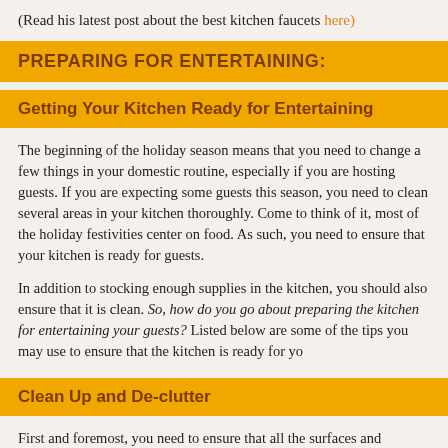(Read his latest post about the best kitchen faucets here)
PREPARING FOR ENTERTAINING:
Getting Your Kitchen Ready for Entertaining
The beginning of the holiday season means that you need to change a few things in your domestic routine, especially if you are hosting guests. If you are expecting some guests this season, you need to clean several areas in your kitchen thoroughly. Come to think of it, most of the holiday festivities center on food. As such, you need to ensure that your kitchen is ready for guests.
In addition to stocking enough supplies in the kitchen, you should also ensure that it is clean. So, how do you go about preparing the kitchen for entertaining your guests? Listed below are some of the tips you may use to ensure that the kitchen is ready for yo...
Clean Up and De-clutter
First and foremost, you need to ensure that all the surfaces and countertops in the kitchen are clean. Again, a little more space may be what you need in the kitchen right now. In that case, you should consider getting rid of all the clutter lying around, especially on...